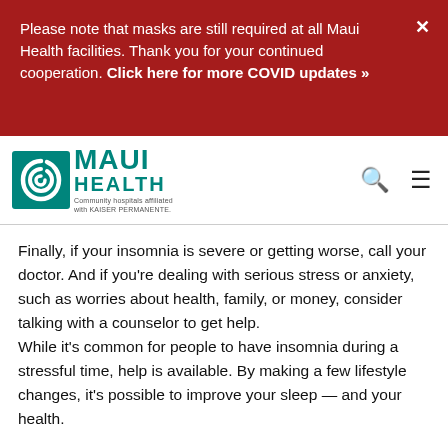Please note that masks are still required at all Maui Health facilities. Thank you for your continued cooperation. Click here for more COVID updates »
[Figure (logo): Maui Health logo with teal spiral icon and text 'MAUI HEALTH Community hospitals affiliated with KAISER PERMANENTE']
Finally, if your insomnia is severe or getting worse, call your doctor. And if you're dealing with serious stress or anxiety, such as worries about health, family, or money, consider talking with a counselor to get help.
While it's common for people to have insomnia during a stressful time, help is available. By making a few lifestyle changes, it's possible to improve your sleep — and your health.